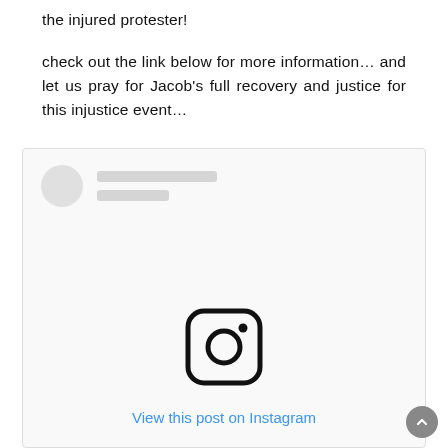the injured protester!
check out the link below for more information… and let us pray for Jacob's full recovery and justice for this injustice event…
[Figure (screenshot): Embedded Instagram post placeholder showing avatar, name placeholders, Instagram camera icon, and 'View this post on Instagram' link in blue text]